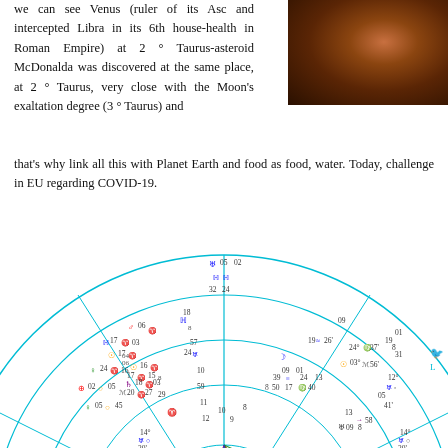we can see Venus (ruler of its Asc and intercepted Libra in its 6th house-health in Roman Empire) at 2 ° Taurus-asteroid McDonalda was discovered at the same place, at 2 ° Taurus, very close with the Moon's exaltation degree (3 ° Taurus) and that's why link all this with Planet Earth and food as food, water. Today, challenge in EU regarding COVID-19.
[Figure (photo): Portrait photo of a person with long reddish-brown hair, dark background]
[Figure (other): Astrological natal chart wheel with cyan/teal circles, zodiac symbols, planetary positions and aspect lines in red, green, and blue. Shows degrees and positions including: 05°02' at top, 32°24', 18° on left side, 06° Aries, 17° Aries, 17° Aries 03°, 24° Aries 16°, 02° Taurus 05°, 05° Taurus 45°, various degree markers around the wheel including 19°Aquarius 26', 24°Virgo 37', 09°, 01°, 24°, 13°, 12°, 41°, 58°, 09°, 14°, 20']